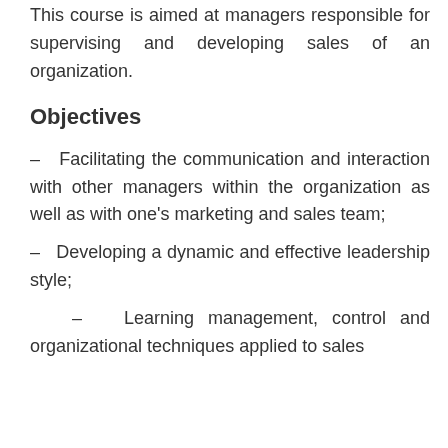This course is aimed at managers responsible for supervising and developing sales of an organization.
Objectives
– Facilitating the communication and interaction with other managers within the organization as well as with one's marketing and sales team;
– Developing a dynamic and effective leadership style;
– Learning management, control and organizational techniques applied to sales